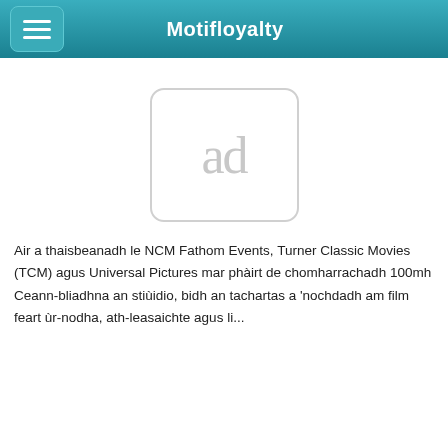Motifloyalty
[Figure (other): Advertisement placeholder box with 'ad' text]
Air a thaisbeanadh le NCM Fathom Events, Turner Classic Movies (TCM) agus Universal Pictures mar phàirt de chomharrachadh 100mh Ceann-bliadhna an stiùidio, bidh an tachartas a 'nochdadh am film feart ùr-nodha, ath-leasaichte agus li...